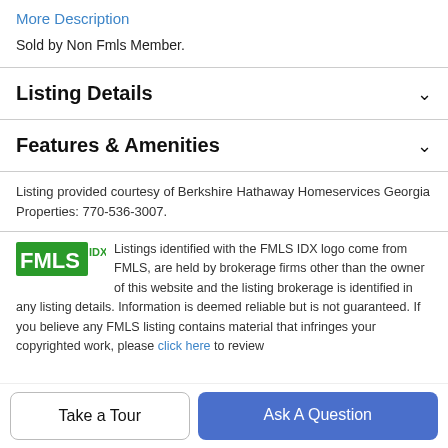More Description
Sold by Non Fmls Member.
Listing Details
Features & Amenities
Listing provided courtesy of Berkshire Hathaway Homeservices Georgia Properties: 770-536-3007.
Listings identified with the FMLS IDX logo come from FMLS, are held by brokerage firms other than the owner of this website and the listing brokerage is identified in any listing details. Information is deemed reliable but is not guaranteed. If you believe any FMLS listing contains material that infringes your copyrighted work, please click here to review
Take a Tour
Ask A Question